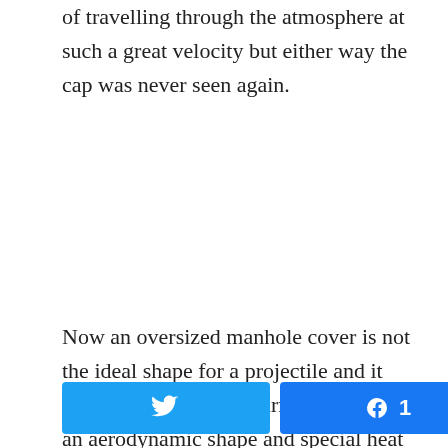vaporised by the intense compression heating of travelling through the atmosphere at such a great velocity but either way the cap was never seen again.
Now an oversized manhole cover is not the ideal shape for a projectile and it could be expected to burn up but with an aerodynamic shape and special heat shielding, the heat issue could be overcome.
[Figure (infographic): Social sharing buttons: Twitter share button (blue), Facebook share button (blue) with count '1', and a share icon with '1 SHARES' text.]